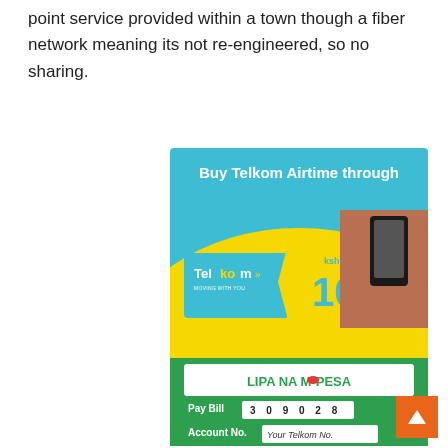point service provided within a town though a fiber network meaning its not re-engineered, so no sharing.
[Figure (photo): Advertisement for buying Telkom Airtime through Lipa Na M-Pesa. Shows a blue and yellow card with 'Buy Telkom Airtime through' header, a Telkom scratch card showing kshs 100, a hand holding a mobile phone, and M-Pesa payment details: Pay Bill 309028, Account No. Your Telkom No.]